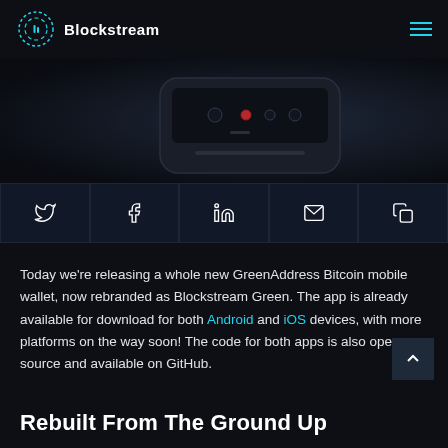Blockstream
[Figure (photo): Dark background product photo showing a hardware wallet device with buttons and LED indicators, centered on a dark gradient background]
[Figure (infographic): Row of five social sharing buttons: Twitter, Facebook, LinkedIn, Email, Copy Link — dark navy background with white icons]
Today we're releasing a whole new GreenAddress Bitcoin mobile wallet, now rebranded as Blockstream Green. The app is already available for download for both Android and iOS devices, with more platforms on the way soon! The code for both apps is also open source and available on GitHub.
Rebuilt From The Ground Up